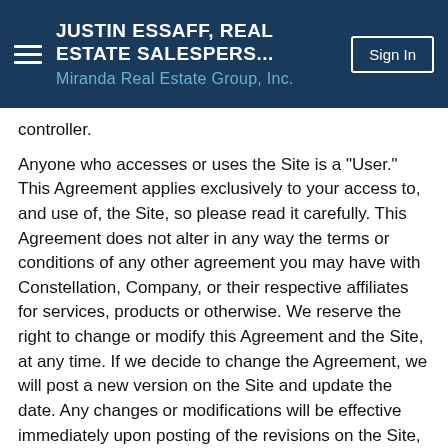JUSTIN ESSAFF, REAL ESTATE SALESPERS... Miranda Real Estate Group, Inc. Sign In
controller.

Anyone who accesses or uses the Site is a "User." This Agreement applies exclusively to your access to, and use of, the Site, so please read it carefully. This Agreement does not alter in any way the terms or conditions of any other agreement you may have with Constellation, Company, or their respective affiliates for services, products or otherwise. We reserve the right to change or modify this Agreement and the Site, at any time. If we decide to change the Agreement, we will post a new version on the Site and update the date. Any changes or modifications will be effective immediately upon posting of the revisions on the Site, and you waive any right you may have to receive specific notice of such changes or modifications. Your use of the Site following the posting of changes or modifications to the Agreement will constitute your acceptance of the revised Agreement. Therefore, you should frequently